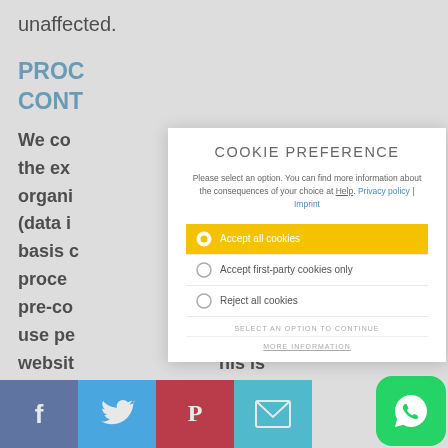unaffected.
PROC... CONT...
We col... y to the ext... ontent organi... p (data i... he basis c... its the proce... act or pre-co... nd use pe... website... his is neces... line the services...
[Figure (screenshot): Cookie preference modal dialog with options: Accept all cookies (selected, yellow background), Accept first-party cookies only, Reject all cookies. Footer shows SELECT AN OPTION TO CONTINUE and MORE INFORMATION links.]
[Figure (infographic): Social media sharing bar with Facebook, Twitter, Pinterest, Email icons, and WhatsApp chat bubble in bottom right corner.]